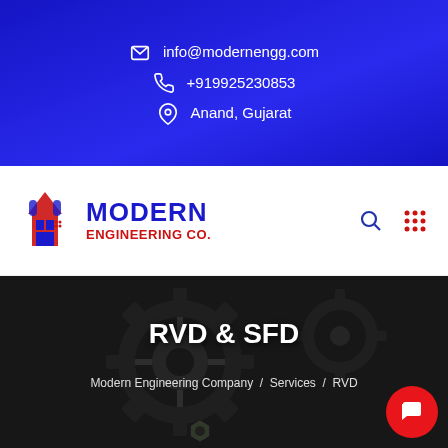info@modernengg.com
+919925230853
Anand, Gujarat
[Figure (logo): Modern Engineering Co. logo with red and blue industrial icon, text MODERN ENGINEERING CO.]
[Figure (photo): Close-up photo of dark industrial gear/sprocket machinery]
RVD & SFD
Modern Engineering Company / Services / RVD